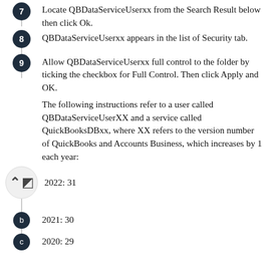7. Locate QBDataServiceUserxx from the Search Result below then click Ok.
8. QBDataServiceUserxx appears in the list of Security tab.
9. Allow QBDataServiceUserxx full control to the folder by ticking the checkbox for Full Control. Then click Apply and OK.
The following instructions refer to a user called QBDataServiceUserXX and a service called QuickBooksDBxx, where XX refers to the version number of QuickBooks and Accounts Business, which increases by 1 each year:
a. 2022: 31
b. 2021: 30
c. 2020: 29